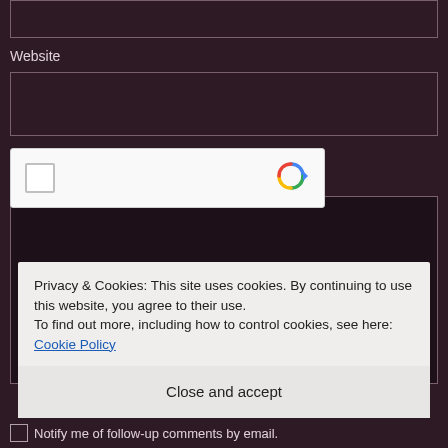[Figure (screenshot): Empty input box at the top with dark maroon background]
Website
[Figure (screenshot): Website text input field, empty]
[Figure (screenshot): reCAPTCHA widget partially visible with checkbox and reCAPTCHA logo]
[Figure (screenshot): Dark box area below reCAPTCHA]
Privacy & Cookies: This site uses cookies. By continuing to use this website, you agree to their use.
To find out more, including how to control cookies, see here: Cookie Policy
Close and accept
Notify me of follow-up comments by email.